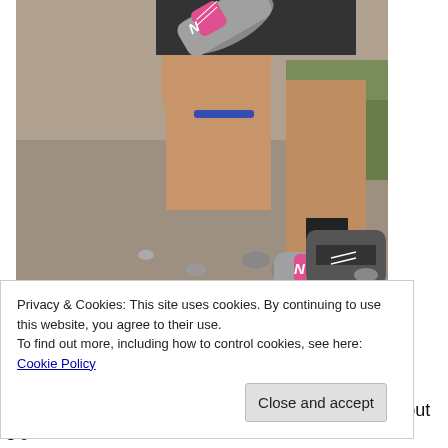[Figure (photo): Close-up photo of a person's legs while running outdoors on a gravel/dirt trail, wearing grey and pink New Balance running shoes. A second person in dark shoes is visible in the background. The terrain includes rocks, gravel, and green grass.]
Privacy & Cookies: This site uses cookies. By continuing to use this website, you agree to their use.
To find out more, including how to control cookies, see here: Cookie Policy
Close and accept
showed in her figure… slender and sexy. She's about 5'9"